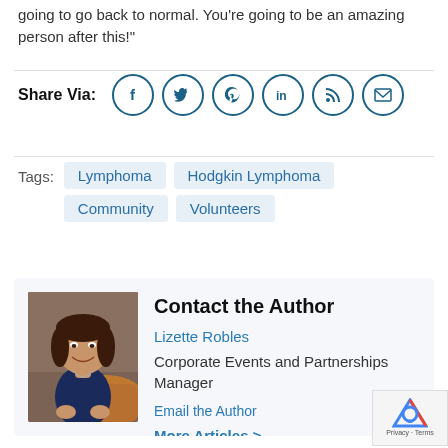going to go back to normal. You're going to be an amazing person after this!"
Share Via:
Tags: Lymphoma   Hodgkin Lymphoma   Community   Volunteers
Contact the Author
Lizette Robles
Corporate Events and Partnerships Manager
Email the Author
More Articles >